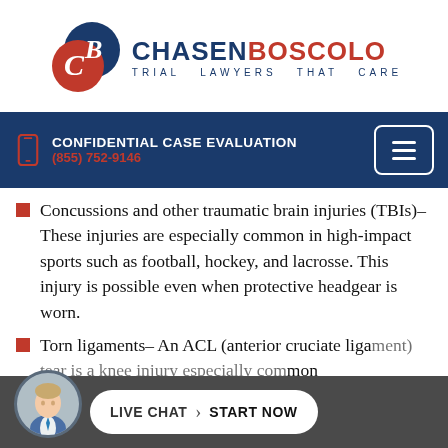[Figure (logo): Chasen Boscolo Trial Lawyers That Care logo with CB circular icon in blue and red]
CONFIDENTIAL CASE EVALUATION
(855) 752-9146
Concussions and other traumatic brain injuries (TBIs)– These injuries are especially common in high-impact sports such as football, hockey, and lacrosse. This injury is possible even when protective headgear is worn.
Torn ligaments– An ACL (anterior cruciate ligament) tear is a knee injury especially common
[Figure (photo): Live Chat - Start Now button bar with attorney photo avatar]